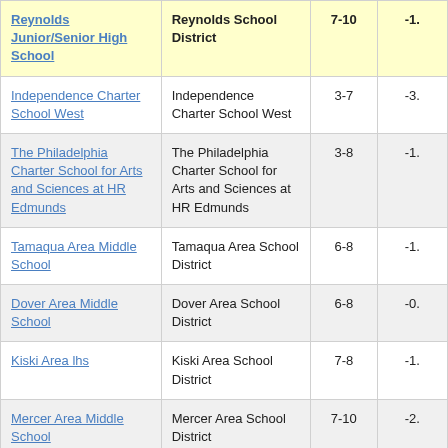| School | District | Grades | Value |
| --- | --- | --- | --- |
| Reynolds Junior/Senior High School | Reynolds School District | 7-10 | -1. |
| Independence Charter School West | Independence Charter School West | 3-7 | -3. |
| The Philadelphia Charter School for Arts and Sciences at HR Edmunds | The Philadelphia Charter School for Arts and Sciences at HR Edmunds | 3-8 | -1. |
| Tamaqua Area Middle School | Tamaqua Area School District | 6-8 | -1. |
| Dover Area Middle School | Dover Area School District | 6-8 | -0. |
| Kiski Area lhs | Kiski Area School District | 7-8 | -1. |
| Mercer Area Middle School | Mercer Area School District | 7-10 | -2. |